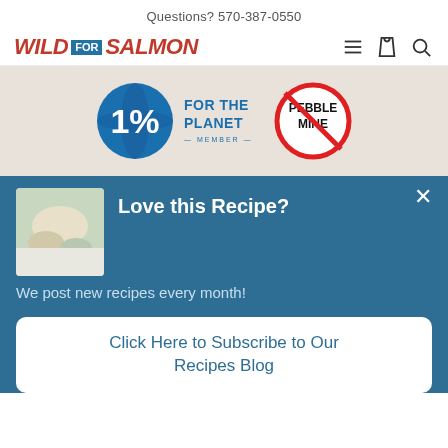Questions? 570-387-0550
[Figure (logo): Wild for Salmon logo with navigation icons (hamburger menu, shopping bag, search)]
[Figure (infographic): 1% For The Planet member badge and No Pebble Mine badge side by side on a beige background]
Love this Recipe?
We post new recipes every month!
Click Here to Subscribe to Our Recipes Blog